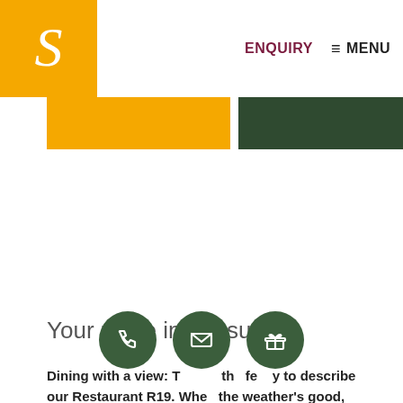S  ENQUIRY  ≡ MENU
[Figure (other): Two decorative banner strips: a golden/amber strip on the left and a dark green strip on the right, partially visible below the header]
Your place in the sun
Dining with a view: The perfect way to describe our Restaurant R19. When the weather's good, you can enjoy